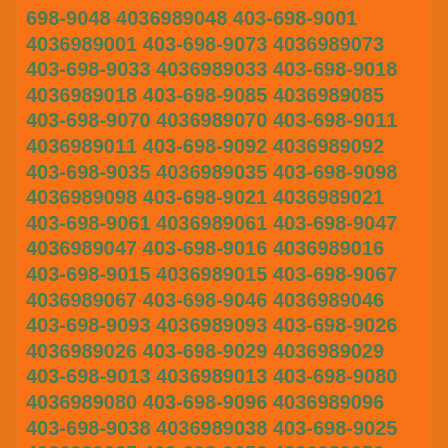698-9048 4036989048 403-698-9001 4036989001 403-698-9073 4036989073 403-698-9033 4036989033 403-698-9018 4036989018 403-698-9085 4036989085 403-698-9070 4036989070 403-698-9011 4036989011 403-698-9092 4036989092 403-698-9035 4036989035 403-698-9098 4036989098 403-698-9021 4036989021 403-698-9061 4036989061 403-698-9047 4036989047 403-698-9016 4036989016 403-698-9015 4036989015 403-698-9067 4036989067 403-698-9046 4036989046 403-698-9093 4036989093 403-698-9026 4036989026 403-698-9029 4036989029 403-698-9013 4036989013 403-698-9080 4036989080 403-698-9096 4036989096 403-698-9038 4036989038 403-698-9025 4036989025 403-698-9056 4036989056 403-698-9030 4036989030 403-698-9051 4036989051 403-698-9089 4036989089 403-698-9057 4036989057 403-698-9052 4036989052 403-698-9084 4036989084 403-698-9077 4036989077 403-698-9008 4036989008 403-698-9081 4036989081 403-698-9088 4036989088 403-698-9053 4036989053 403-698-9074 4036989074 403-698-9045 4036989045 403-698-9055 4036989055 403-698-9060 4036989060 403-698-9005 4036989005 403-698-9044 4036989044